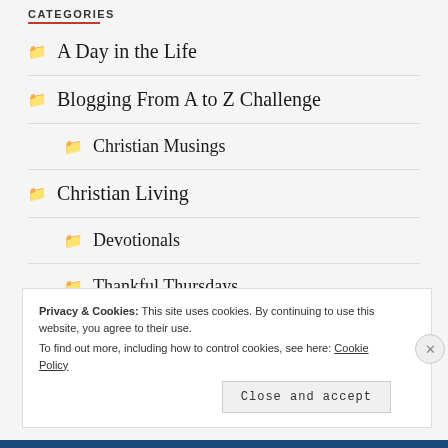CATEGORIES
A Day in the Life
Blogging From A to Z Challenge
Christian Musings
Christian Living
Devotionals
Thankful Thursdays
Privacy & Cookies: This site uses cookies. By continuing to use this website, you agree to their use. To find out more, including how to control cookies, see here: Cookie Policy
Close and accept